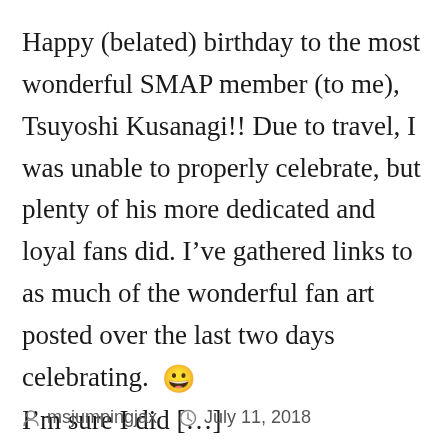Happy (belated) birthday to the most wonderful SMAP member (to me), Tsuyoshi Kusanagi!! Due to travel, I was unable to properly celebrate, but plenty of his more dedicated and loyal fans did. I've gathered links to as much of the wonderful fan art posted over the last two days celebrating. 😀 I'm sure I did […]
msjumpingjax   July 11, 2018